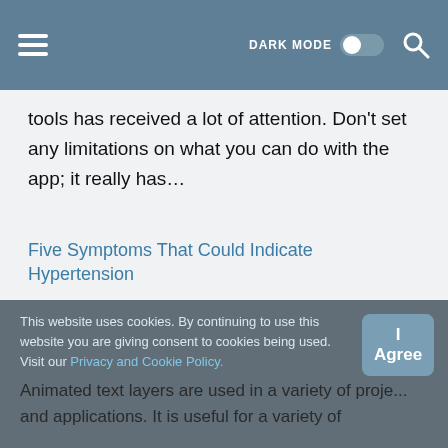DARK MODE
tools has received a lot of attention. Don't set any limitations on what you can do with the app; it really has...
Five Symptoms That Could Indicate Hypertension
Usually, hypertension, or high blood pressure, takes time to manifest. In fact, you might go years without realizing you have the condition. That's significant because untreated hypertension can have...
This website uses cookies. By continuing to use this website you are giving consent to cookies being used. Visit our Privacy and Cookie Policy.
Animated text layers are used in a variety of projects and applications. It is useful for a variety of